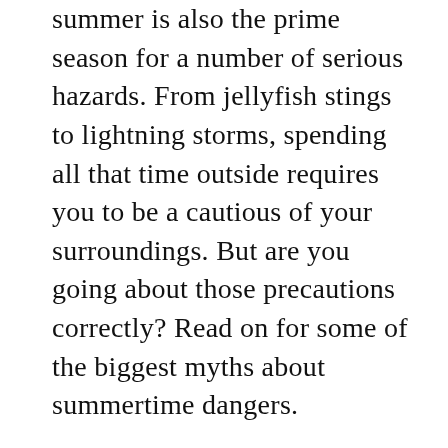summer is also the prime season for a number of serious hazards. From jellyfish stings to lightning storms, spending all that time outside requires you to be a cautious of your surroundings. But are you going about those precautions correctly? Read on for some of the biggest myths about summertime dangers.